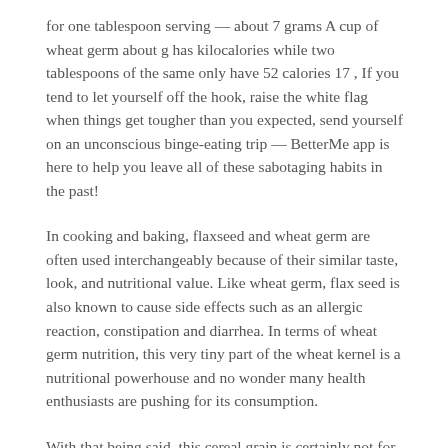for one tablespoon serving — about 7 grams A cup of wheat germ about g has kilocalories while two tablespoons of the same only have 52 calories 17 , If you tend to let yourself off the hook, raise the white flag when things get tougher than you expected, send yourself on an unconscious binge-eating trip — BetterMe app is here to help you leave all of these sabotaging habits in the past!
In cooking and baking, flaxseed and wheat germ are often used interchangeably because of their similar taste, look, and nutritional value. Like wheat germ, flax seed is also known to cause side effects such as an allergic reaction, constipation and diarrhea. In terms of wheat germ nutrition, this very tiny part of the wheat kernel is a nutritional powerhouse and no wonder many health enthusiasts are pushing for its consumption.
With that being said, this cereal grain is certainly not for everyone. If you would like to add it to your diet, we suggest first speaking to your doctor about any possible and perhaps unforeseen side effects. This article is intended for general informational purposes only and does not address individual circumstances. It is not a substitute for